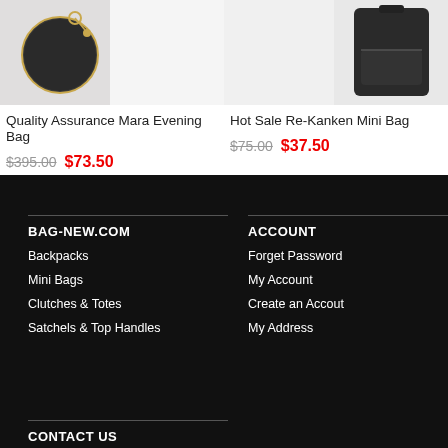[Figure (photo): Product image of Quality Assurance Mara Evening Bag - round dark bag with gold chain and keyring charm]
Quality Assurance Mara Evening Bag
$395.00  $73.50
[Figure (photo): Product image of Hot Sale Re-Kanken Mini Bag - dark rectangular backpack]
Hot Sale Re-Kanken Mini Bag
$75.00  $37.50
BAG-NEW.COM
Backpacks
Mini Bags
Clutches & Totes
Satchels & Top Handles
ACCOUNT
Forget Password
My Account
Create an Accout
My Address
CONTACT US